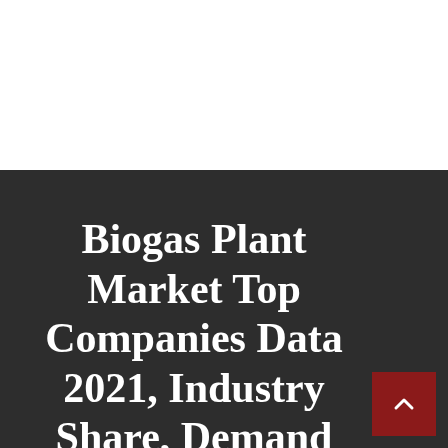Biogas Plant Market Top Companies Data 2021, Industry Share, Demand and Revenue Growth Opportunities